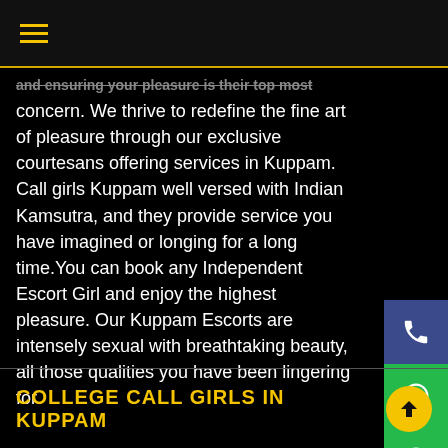≡
and ensuring your pleasure is their top most concern. We thrive to redefine the fine art of pleasure through our exclusive courtesans offering services in Kuppam. Call girls Kuppam well versed with Indian Kamsutra, and they provide service you have imagined or longing for a long time.You can book any Independent Escort Girl and enjoy the highest pleasure. Our Kuppam Escorts are intensely sexual with breathtaking beauty, all those qualities you have been lingering for.
COLLEGE CALL GIRLS IN KUPPAM